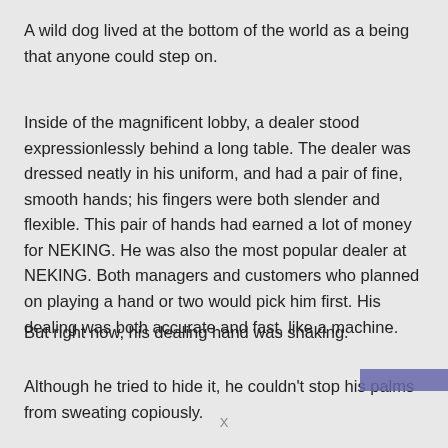A wild dog lived at the bottom of the world as a being that anyone could step on.
Inside of the magnificent lobby, a dealer stood expressionlessly behind a long table. The dealer was dressed neatly in his uniform, and had a pair of fine, smooth hands; his fingers were both slender and flexible. This pair of hands had earned a lot of money for NEKING. He was also the most popular dealer at NEKING. Both managers and customers who planned on playing a hand or two would pick him first. His dealing was both accurate and fast, like a machine.
But right now, his dealing hand was shaking.
Although he tried to hide it, he couldn't stop his palms from sweating copiously.